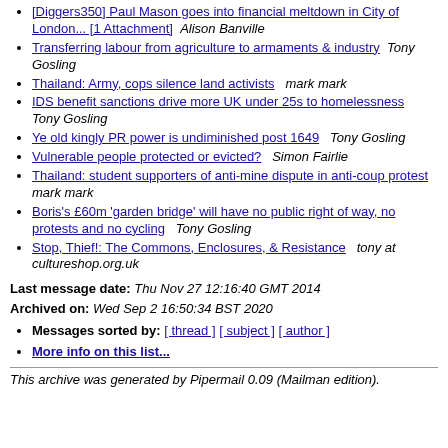[Diggers350] Paul Mason goes into financial meltdown in City of London... [1 Attachment]  Alison Banville
Transferring labour from agriculture to armaments & industry  Tony Gosling
Thailand: Army, cops silence land activists  mark mark
IDS benefit sanctions drive more UK under 25s to homelessness  Tony Gosling
Ye old kingly PR power is undiminished post 1649  Tony Gosling
Vulnerable people protected or evicted?  Simon Fairlie
Thailand: student supporters of anti-mine dispute in anti-coup protest  mark mark
Boris's £60m 'garden bridge' will have no public right of way, no protests and no cycling  Tony Gosling
Stop, Thief!: The Commons, Enclosures, & Resistance  tony at cultureshop.org.uk
Last message date: Thu Nov 27 12:16:40 GMT 2014
Archived on: Wed Sep 2 16:50:34 BST 2020
Messages sorted by: [ thread ] [ subject ] [ author ]
More info on this list...
This archive was generated by Pipermail 0.09 (Mailman edition).